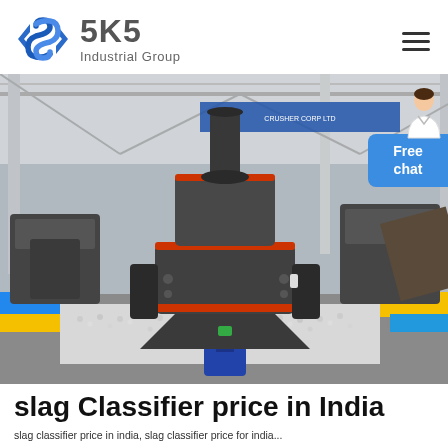[Figure (logo): SKS Industrial Group logo with blue angular S symbol and bold gray SKS text with 'Industrial Group' subtitle]
[Figure (photo): Industrial factory floor showing a large vertical slag classifier/grinding mill machine in center, surrounded by white granular material, with other heavy machinery visible in background inside a large industrial shed]
slag Classifier price in India